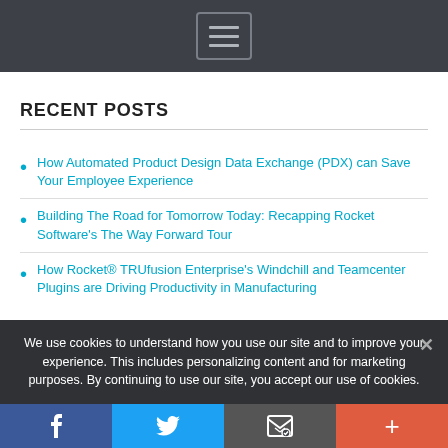Navigation menu button
RECENT POSTS
How Automated Product Design Data Exchange (PDX) can Save Your Employee Experience
Building The Road for Tomorrow Today: Recapping Rocket Software's The Way Forward Tour
How Rocket® TRUfusion Enterprise's Windchill and Teamcenter Plugins are Driving Productivity in Manufacturing
We use cookies to understand how you use our site and to improve your experience. This includes personalizing content and for marketing purposes. By continuing to use our site, you accept our use of cookies.